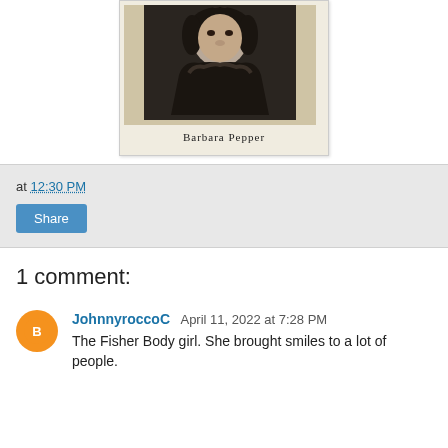[Figure (photo): Black and white photograph of Barbara Pepper, a woman shown from shoulders up, with caption 'Barbara Pepper' below the image on a vintage card-style background]
Barbara Pepper
at 12:30 PM
Share
1 comment:
JohnnyroccoC April 11, 2022 at 7:28 PM
The Fisher Body girl. She brought smiles to a lot of people.